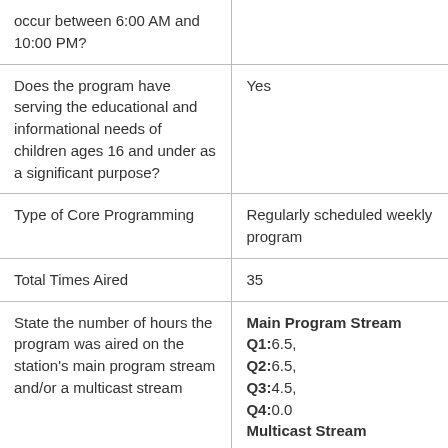| occur between 6:00 AM and 10:00 PM? |  |
| Does the program have serving the educational and informational needs of children ages 16 and under as a significant purpose? | Yes |
| Type of Core Programming | Regularly scheduled weekly program |
| Total Times Aired | 35 |
| State the number of hours the program was aired on the station's main program stream and/or a multicast stream | Main Program Stream Q1:6.5, Q2:6.5, Q3:4.5, Q4:0.0 Multicast Stream Q1:0.0 |